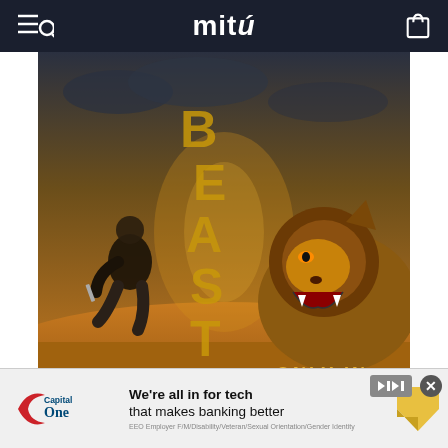mitú
[Figure (photo): Movie poster for 'Beast' showing a man crouching with a knife facing a roaring lion, with golden letters spelling BEAST in the background, desert/savanna setting, text 'ONLY IN' visible at bottom right]
[Figure (other): Capital One advertisement banner: 'We're all in for tech that makes banking better', with Capital One logo on left, skip button and close button on right, fine print reads 'EEO Employer F/M/Disability/Veteran/Sexual Orientation/Gender Identity']